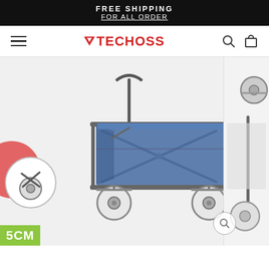FREE SHIPPING
FOR ALL ORDER
[Figure (screenshot): Techoss e-commerce website navigation bar with hamburger menu, TECHOSS logo in red, and search/cart icons]
[Figure (photo): Blue folding utility wagon/cart with gray steel frame, pull handle, cross-brace structure, and four large white/gray wheels. Partial views of red color variant on far left and another product on far right. Close-up detail circle at bottom left showing wheel mechanism. Green label showing '5CM' at bottom left corner. Magnifying glass search icon at bottom right.]